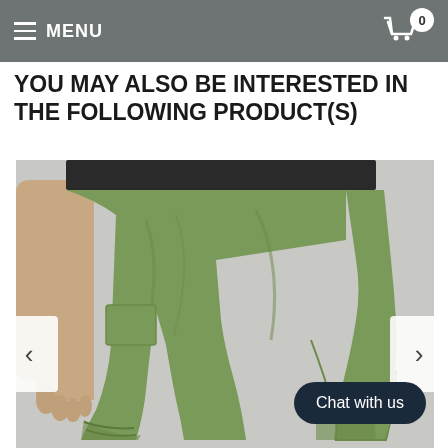MENU   0
YOU MAY ALSO BE INTERESTED IN THE FOLLOWING PRODUCT(S)
[Figure (photo): A person wearing olive green jogger sweatpants with a black waistband, photographed from waist down on a light grey background. One leg is raised showing the tapered cuffed hem.]
Chat with us